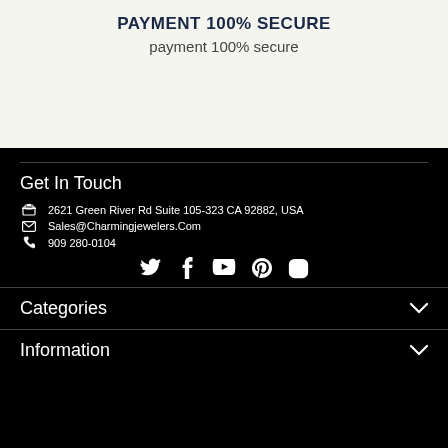PAYMENT 100% SECURE
payment 100% secure
Get In Touch
2621 Green River Rd Suite 105-323 CA 92882, USA
Sales@Charmingjewelers.Com
909 280-0104
[Figure (infographic): Social media icons row: Twitter, Facebook, YouTube, Pinterest, Instagram]
Categories
Information